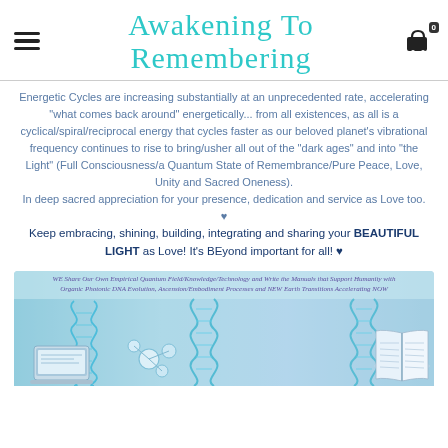Awakening To Remembering
Energetic Cycles are increasing substantially at an unprecedented rate, accelerating "what comes back around" energetically... from all existences, as all is a cyclical/spiral/reciprocal energy that cycles faster as our beloved planet's vibrational frequency continues to rise to bring/usher all out of the "dark ages" and into "the Light" (Full Consciousness/a Quantum State of Remembrance/Pure Peace, Love, Unity and Sacred Oneness).
In deep sacred appreciation for your presence, dedication and service as Love too. ♥
Keep embracing, shining, building, integrating and sharing your BEAUTIFUL LIGHT as Love! It's BEyond important for all! ♥
[Figure (illustration): Banner image with DNA strands, laptop, molecular models, and open book on a blue-teal scientific background with overlay text: WE Share Our Own Empirical Quantum Field/Knowledge/Technology and Write the Manuals that Support Humanity with Organic Photonic DNA Evolution, Ascension/Embodiment Processes and NEW Earth Transitions Accelerating NOW]